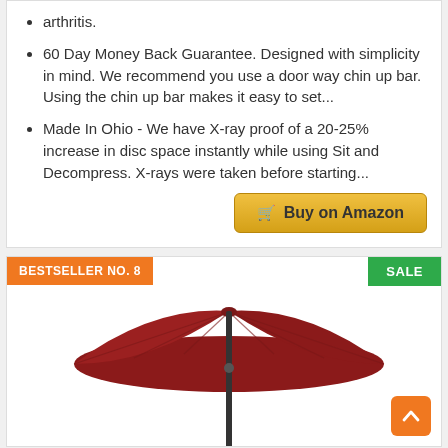arthritis.
60 Day Money Back Guarantee. Designed with simplicity in mind. We recommend you use a door way chin up bar. Using the chin up bar makes it easy to set...
Made In Ohio - We have X-ray proof of a 20-25% increase in disc space instantly while using Sit and Decompress. X-rays were taken before starting...
Buy on Amazon
BESTSELLER NO. 8
SALE
[Figure (photo): A red patio umbrella with a dark pole, shown partially, product photo on white background]